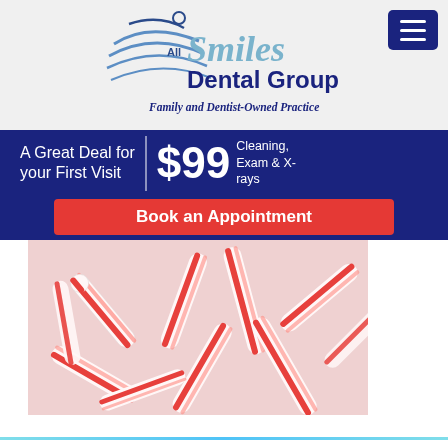[Figure (logo): All Smiles Dental Group logo with stylized figure and text 'Family and Dentist-Owned Practice']
A Great Deal for your First Visit | $99 Cleaning, Exam & X-rays
Book an Appointment
[Figure (photo): Pile of red and white candy canes filling the frame]